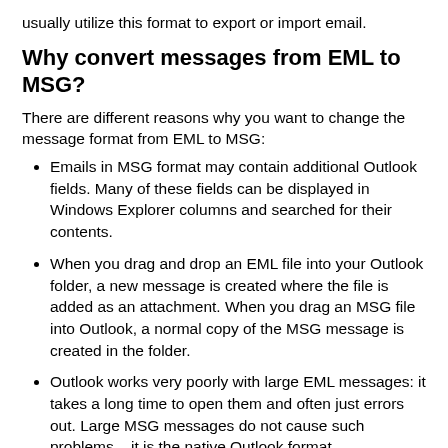usually utilize this format to export or import email.
Why convert messages from EML to MSG?
There are different reasons why you want to change the message format from EML to MSG:
Emails in MSG format may contain additional Outlook fields. Many of these fields can be displayed in Windows Explorer columns and searched for their contents.
When you drag and drop an EML file into your Outlook folder, a new message is created where the file is added as an attachment. When you drag an MSG file into Outlook, a normal copy of the MSG message is created in the folder.
Outlook works very poorly with large EML messages: it takes a long time to open them and often just errors out. Large MSG messages do not cause such problems – it is the native Outlook format.
Often, EML message files take up more space than MSG files. This can be critical for archiving to cloud